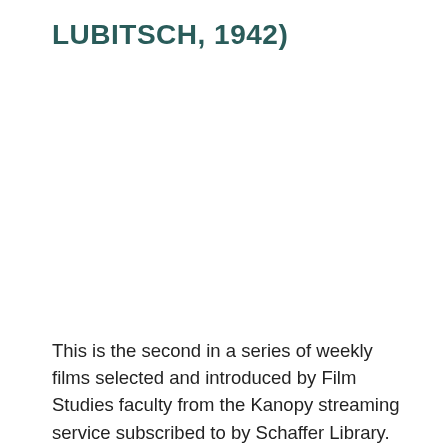LUBITSCH, 1942)
This is the second in a series of weekly films selected and introduced by Film Studies faculty from the Kanopy streaming service subscribed to by Schaffer Library. You can access the Kanopy service where you can access your content the